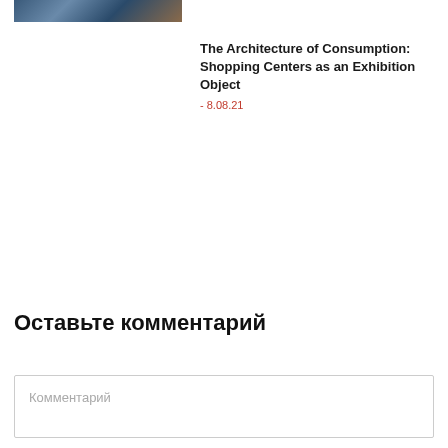[Figure (photo): Partial thumbnail image of an article, showing a colorful illustration or photo at the top left corner]
The Architecture of Consumption: Shopping Centers as an Exhibition Object
- 8.08.21
Оставьте комментарий
Комментарий